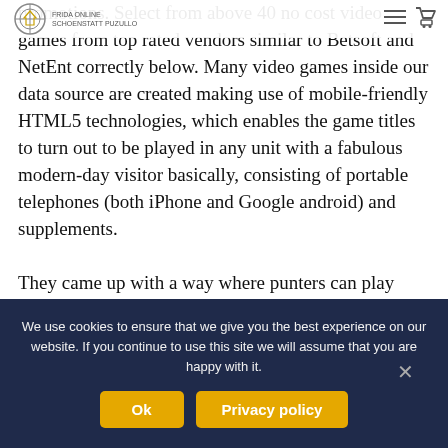FRIDA ONLINE | SCHOENSTATTPUZULLO
promotions. Select from above 40 no cost video games from top rated vendors similar to Betsoft and NetEnt correctly below. Many video games inside our data source are created making use of mobile-friendly HTML5 technologies, which enables the game titles to turn out to be played in any unit with a fabulous modern-day visitor basically, consisting of portable telephones (both iPhone and Google android) and supplements.
They came up with a way where punters can play their favourite online activities on the go. Â This will be what ultimately brought to the design of Great
We use cookies to ensure that we give you the best experience on our website. If you continue to use this site we will assume that you are happy with it.
Ok
Privacy policy